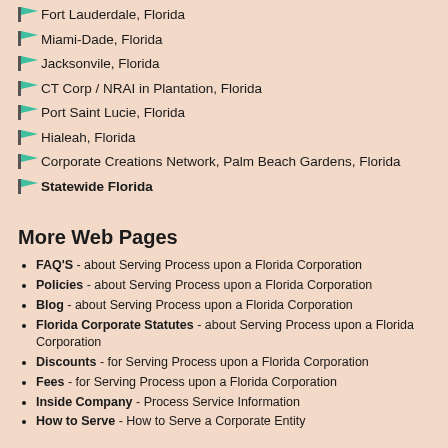Fort Lauderdale, Florida
Miami-Dade, Florida
Jacksonvile, Florida
CT Corp / NRAI in Plantation, Florida
Port Saint Lucie, Florida
Hialeah, Florida
Corporate Creations Network, Palm Beach Gardens, Florida
Statewide Florida
More Web Pages
FAQ'S - about Serving Process upon a Florida Corporation
Policies - about Serving Process upon a Florida Corporation
Blog - about Serving Process upon a Florida Corporation
Florida Corporate Statutes - about Serving Process upon a Florida Corporation
Discounts - for Serving Process upon a Florida Corporation
Fees - for Serving Process upon a Florida Corporation
Inside Company - Process Service Information
How to Serve - How to Serve a Corporate Entity